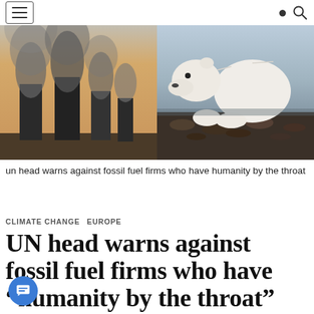[hamburger menu icon] [search icon]
[Figure (photo): Split image showing industrial smokestacks emitting dark smoke on the left and a polar bear on rocky shoreline on the right, with a hazy sky background.]
un head warns against fossil fuel firms who have humanity by the throat
CLIMATE CHANGE  EUROPE
UN head warns against fossil fuel firms who have "humanity by the throat"